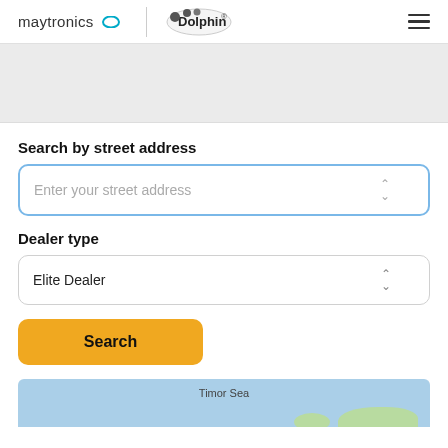maytronics | Dolphin
[Figure (screenshot): Gray hero/banner area]
Search by street address
Enter your street address
Dealer type
Elite Dealer
Search
[Figure (map): Map preview showing Timor Sea and green landmasses]